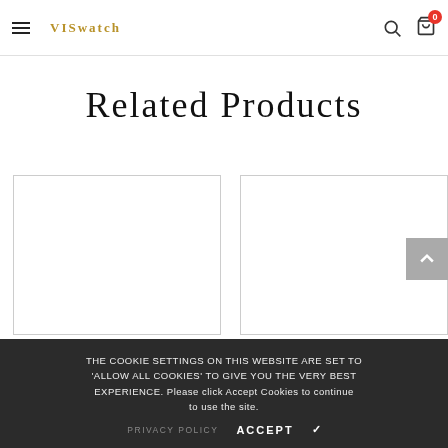VISwatch navigation header with hamburger menu, search icon, and cart icon showing 0 items
Related Products
[Figure (other): Two empty product card placeholders side by side in a related products grid]
The cookie settings on this website are set to 'allow all cookies' to give you the very best experience. Please click Accept Cookies to continue to use the site.
PRIVACY POLICY   ACCEPT ✓